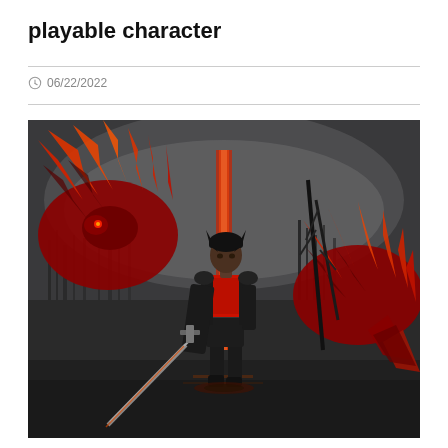playable character
06/22/2022
[Figure (illustration): Fantasy game artwork showing a dark-haired warrior in black armor holding a large sword, flanked by two massive red phoenix/dragon creatures with fiery red wings, set against a dark stormy cityscape background.]